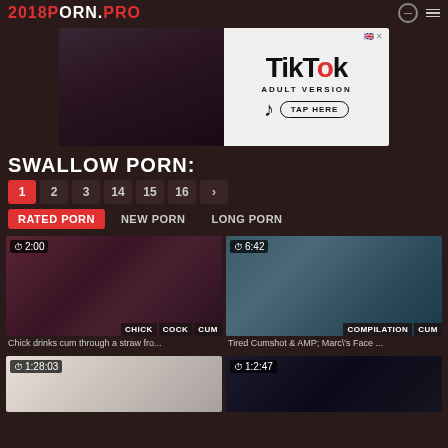2018PORN.PRO
[Figure (screenshot): TikTok Adult Version advertisement banner]
SWALLOW PORN:
Pagination: 1 2 3 14 15 16 >
Filter: RATED PORN | NEW PORN | LONG PORN
[Figure (screenshot): Video thumbnail - duration 2:00, tags: CHICK COCK CUM]
Chick drinks cum through a straw fro...
[Figure (screenshot): Video thumbnail - duration 6:42, tags: COMPILATION CUM]
Tired Cumshot & AMP; Marc\'s Face ...
[Figure (screenshot): Video thumbnail - duration 1:28:03]
[Figure (screenshot): Video thumbnail - duration 1:2:47]